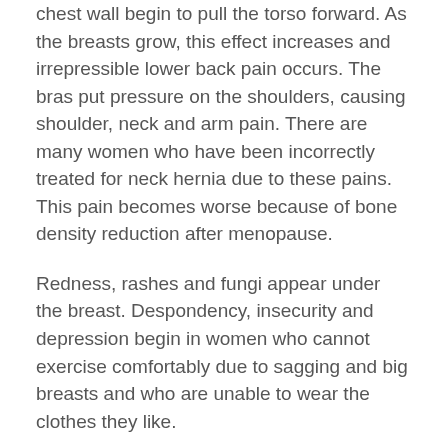chest wall begin to pull the torso forward. As the breasts grow, this effect increases and irrepressible lower back pain occurs. The bras put pressure on the shoulders, causing shoulder, neck and arm pain. There are many women who have been incorrectly treated for neck hernia due to these pains. This pain becomes worse because of bone density reduction after menopause.
Redness, rashes and fungi appear under the breast. Despondency, insecurity and depression begin in women who cannot exercise comfortably due to sagging and big breasts and who are unable to wear the clothes they like.
Can breast sagging be treated without surgery?